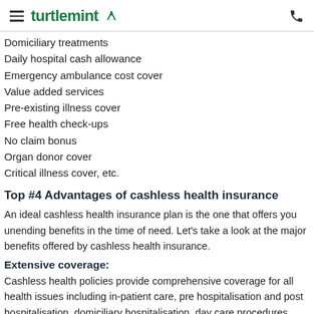turtlemint
Domiciliary treatments
Daily hospital cash allowance
Emergency ambulance cost cover
Value added services
Pre-existing illness cover
Free health check-ups
No claim bonus
Organ donor cover
Critical illness cover, etc.
Top #4 Advantages of cashless health insurance
An ideal cashless health insurance plan is the one that offers you unending benefits in the time of need. Let’s take a look at the major benefits offered by cashless health insurance.
Extensive coverage:
Cashless health policies provide comprehensive coverage for all health issues including in-patient care, pre hospitalisation and post hospitalisation, domiciliary hospitalisation, day care procedures, health